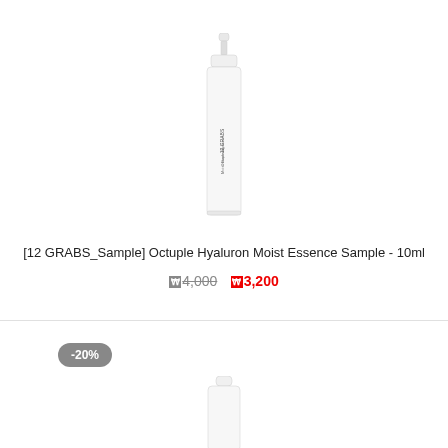[Figure (photo): Small slim white pump bottle of 12 GRABS Octuple Hyaluron Moist Essence, rotated sideways showing label text]
[12 GRABS_Sample] Octuple Hyaluron Moist Essence Sample - 10ml
₩4,000 ₩3,200
[Figure (photo): Partial view of another white cosmetic bottle/jar at the bottom of the page, with a -20% discount badge in grey pill shape at top left]